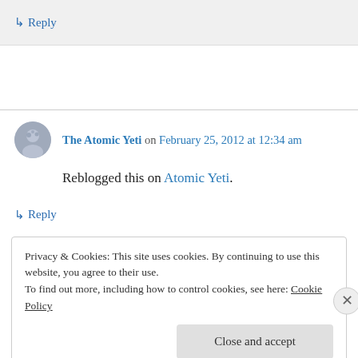↳ Reply
The Atomic Yeti on February 25, 2012 at 12:34 am
Reblogged this on Atomic Yeti.
↳ Reply
Privacy & Cookies: This site uses cookies. By continuing to use this website, you agree to their use. To find out more, including how to control cookies, see here: Cookie Policy
Close and accept